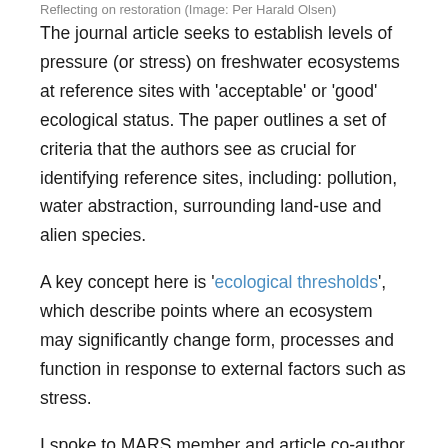Reflecting on restoration (Image: Per Harald Olsen)
The journal article seeks to establish levels of pressure (or stress) on freshwater ecosystems at reference sites with 'acceptable' or 'good' ecological status. The paper outlines a set of criteria that the authors see as crucial for identifying reference sites, including: pollution, water abstraction, surrounding land-use and alien species.
A key concept here is 'ecological thresholds', which describe points where an ecosystem may significantly change form, processes and function in response to external factors such as stress.
I spoke to MARS member and article co-author Sebastian Birk about the challenges reintroduced species such as beavers pose to setting appropriate reference conditions: